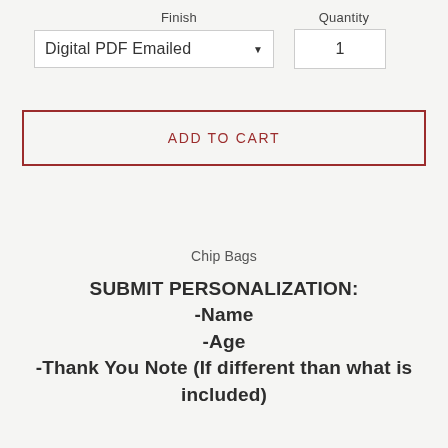Finish
Quantity
Digital PDF Emailed   ▼   1
ADD TO CART
Chip Bags
SUBMIT PERSONALIZATION:
-Name
-Age
-Thank You Note (If different than what is included)